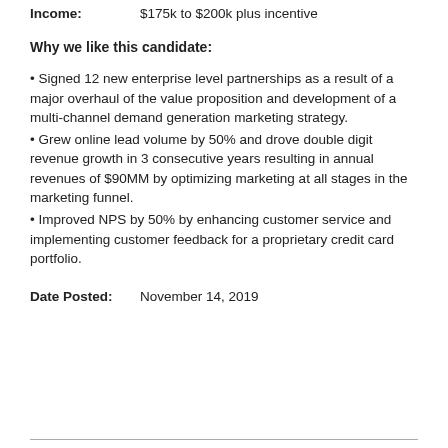Income:    $175k to $200k plus incentive
Why we like this candidate:
Signed 12 new enterprise level partnerships as a result of a major overhaul of the value proposition and development of a multi-channel demand generation marketing strategy.
Grew online lead volume by 50% and drove double digit revenue growth in 3 consecutive years resulting in annual revenues of $90MM by optimizing marketing at all stages in the marketing funnel.
Improved NPS by 50% by enhancing customer service and implementing customer feedback for a proprietary credit card portfolio.
Date Posted:    November 14, 2019